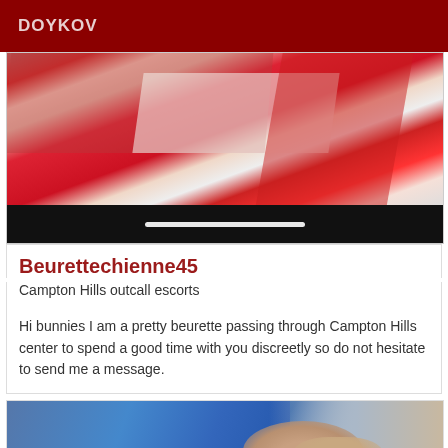DOYKOV
[Figure (photo): Close-up photo of red and white fabric/clothing with a black bar and white indicator line at the bottom]
Beurettechienne45
Campton Hills outcall escorts
Hi bunnies I am a pretty beurette passing through Campton Hills center to spend a good time with you discreetly so do not hesitate to send me a message.
[Figure (photo): Photo of a person in a blue jacket/shirt resting or lying down]